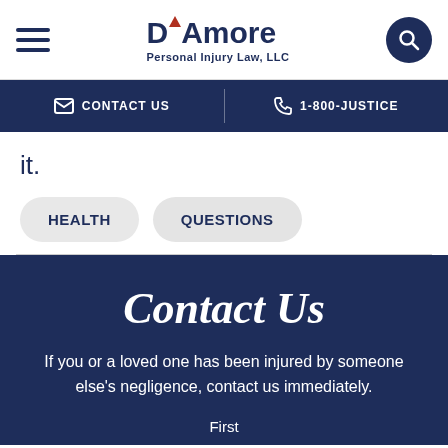D'Amore Personal Injury Law, LLC — CONTACT US | 1-800-JUSTICE
it.
HEALTH
QUESTIONS
Contact Us
If you or a loved one has been injured by someone else's negligence, contact us immediately.
First